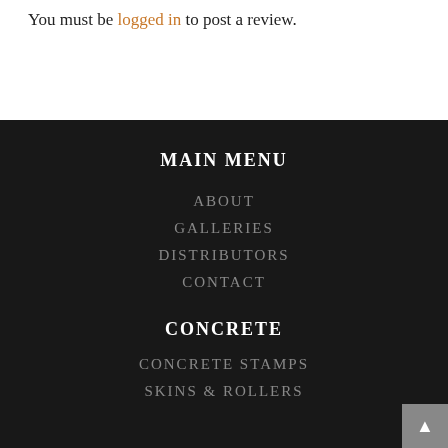You must be logged in to post a review.
MAIN MENU
ABOUT
GALLERIES
DISTRIBUTORS
CONTACT
CONCRETE
CONCRETE STAMPS
SKINS & ROLLERS